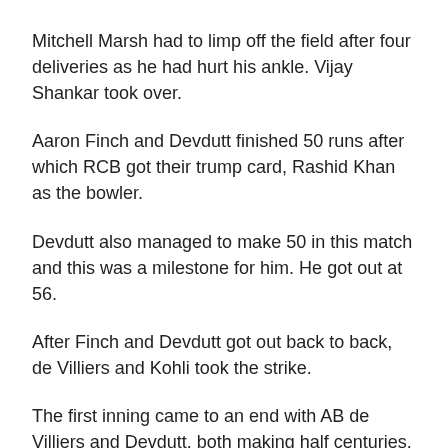Mitchell Marsh had to limp off the field after four deliveries as he had hurt his ankle. Vijay Shankar took over.
Aaron Finch and Devdutt finished 50 runs after which RCB got their trump card, Rashid Khan as the bowler.
Devdutt also managed to make 50 in this match and this was a milestone for him. He got out at 56.
After Finch and Devdutt got out back to back, de Villiers and Kohli took the strike.
The first inning came to an end with AB de Villiers and Devdutt, both making half centuries. Sunrisers now needed 164 runs to win the match. This was a poor score. The opening batsmen for SRH were David Warner and Jonny Bairstow.